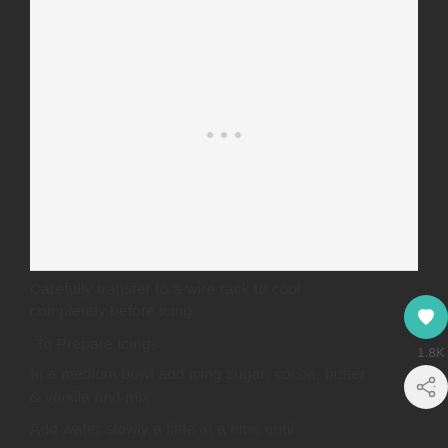[Figure (photo): Light gray placeholder image area with three small dots in the center, indicating an image or ad loading area]
Carefully transfer to a wire rack to cool completely before icing
-To Prepare Icing-
In a medium bowl add icing sugar, cocoa, butter & vanilla and mix
Add water slowly a little at a time until